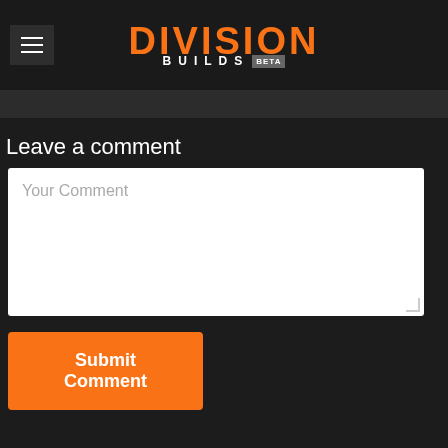DIVISION BUILDS BETA
Leave a comment
[Figure (screenshot): Comment textarea input box with placeholder text 'Your Comment']
Submit Comment
ABOUT DIVISION-BUILDS.COM
Division-Buids is an unofficial fanmade website for the community